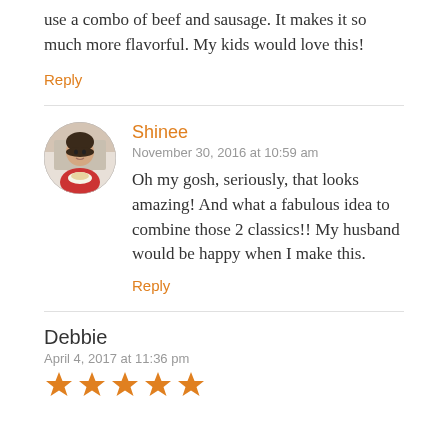use a combo of beef and sausage. It makes it so much more flavorful. My kids would love this!
Reply
Shinee
November 30, 2016 at 10:59 am
Oh my gosh, seriously, that looks amazing! And what a fabulous idea to combine those 2 classics!! My husband would be happy when I make this.
Reply
Debbie
April 4, 2017 at 11:36 pm
[Figure (other): Five orange star rating icons]